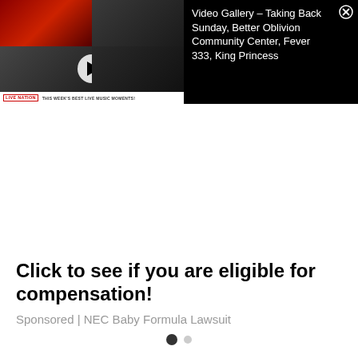[Figure (screenshot): Video Gallery banner showing Live Nation content with grid of concert thumbnails on left and title text on right on black background. Title reads: Video Gallery – Taking Back Sunday, Better Oblivion Community Center, Fever 333, King Princess. A close button (X) is in the top-right corner. Bottom of thumbnail area shows Live Nation logo and text: THIS WEEK'S BEST LIVE MUSIC MOMENTS!]
Click to see if you are eligible for compensation!
Sponsored | NEC Baby Formula Lawsuit